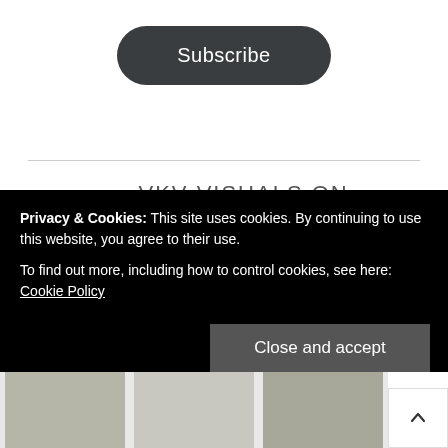[Figure (other): Subscribe button — dark rounded pill-shaped button with white text 'Subscribe']
~ VKV VISUALS ON INSTAGRAM ~
Privacy & Cookies: This site uses cookies. By continuing to use this website, you agree to their use. To find out more, including how to control cookies, see here: Cookie Policy
[Figure (other): Close and accept button (dark grey)]
[Figure (other): Scroll to top arrow button (white with up caret)]
[Figure (photo): Three Instagram food/lifestyle photo thumbnails at the bottom of the page]